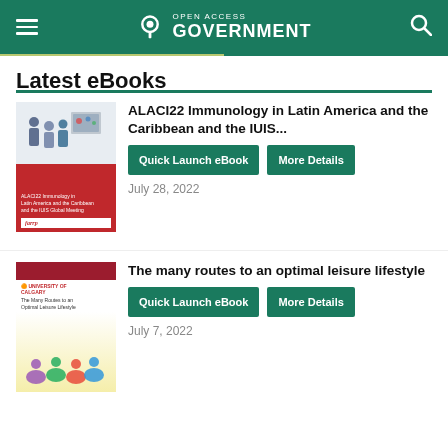Open Access Government
Latest eBooks
ALACI22 Immunology in Latin America and the Caribbean and the IUIS...
Quick Launch eBook | More Details
July 28, 2022
The many routes to an optimal leisure lifestyle
Quick Launch eBook | More Details
July 7, 2022